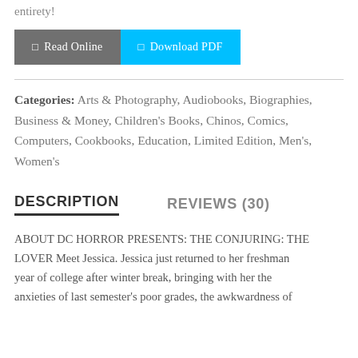entirety!
Read Online   Download PDF
Categories: Arts & Photography, Audiobooks, Biographies, Business & Money, Children's Books, Chinos, Comics, Computers, Cookbooks, Education, Limited Edition, Men's, Women's
DESCRIPTION   REVIEWS (30)
ABOUT DC HORROR PRESENTS: THE CONJURING: THE LOVER Meet Jessica. Jessica just returned to her freshman year of college after winter break, bringing with her the anxieties of last semester's poor grades, the awkwardness of